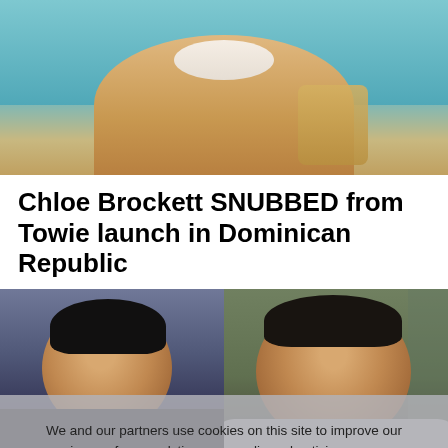[Figure (photo): Woman in white bikini top near a pool holding a wicker basket, partial torso/upper body shot]
Chloe Brockett SNUBBED from Towie launch in Dominican Republic
[Figure (photo): Two men side by side: left man in black Gucci hoodie, right man in grey sweatshirt laughing outdoors]
We and our partners use cookies on this site to improve our service, perform analytics, personalize advertising, measure advertising performance, and remember website preferences.